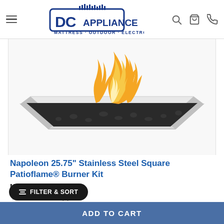DC Appliance - Mattress · Outdoor · Electronics
[Figure (photo): A stainless steel square patioflame burner kit with fire flames burning over black fire glass, viewed from above at an angle on a white background.]
Napoleon 25.75" Stainless Steel Square Patioflame® Burner Kit
Model #: GPFS60
★★★★★ (0)
$599.00
FILTER & SORT
ADD TO CART